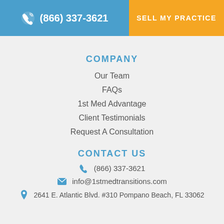(866) 337-3621 | SELL MY PRACTICE
COMPANY
Our Team
FAQs
1st Med Advantage
Client Testimonials
Request A Consultation
CONTACT US
(866) 337-3621
info@1stmedtransitions.com
2641 E. Atlantic Blvd. #310 Pompano Beach, FL 33062